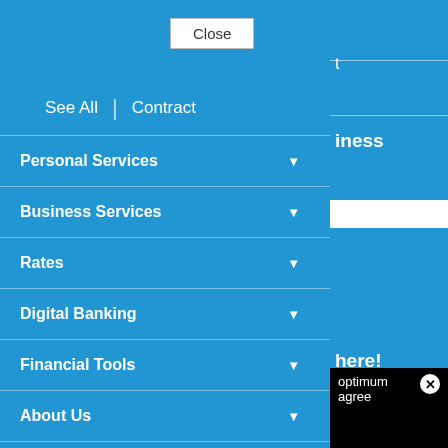Close
See All | Contract
Personal Services ▼
Business Services ▼
Rates ▼
Digital Banking ▼
Financial Tools ▼
About Us ▼
Retirement & Investment Services
Site Map
iness
here!
ns
optimum agree